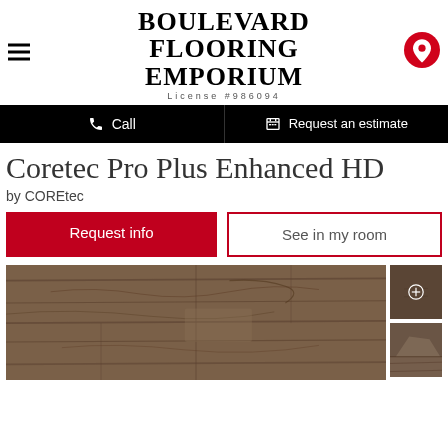BOULEVARD FLOORING EMPORIUM — License #986094
Call | Request an estimate
Coretec Pro Plus Enhanced HD
by COREtec
Request info
See in my room
[Figure (photo): Wood plank flooring product photo showing brown wood grain texture, with two small thumbnail images on the right side]